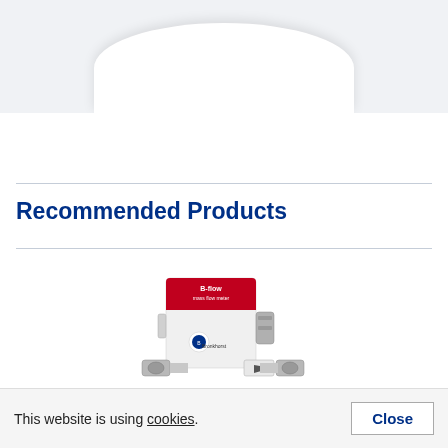[Figure (photo): White dome-shaped product shown at top of page against light grey background]
Recommended Products
[Figure (photo): Bronkhorst B-Flow mass flow meter product photo showing a white and red labelled device with silver fittings]
This website is using cookies.
Close